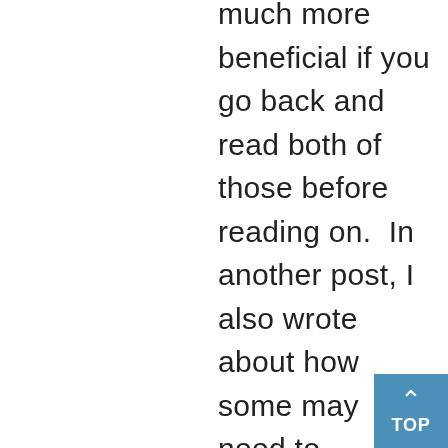much more beneficial if you go back and read both of those before reading on.  In another post, I also wrote about how some may need to consider exercising LESS to PROTECT their health.  As I mentioned in the latter post, due to my winding health journey over the past 5 years, I have experienced exercise across the continuum of very little activity (sedentary) to over-